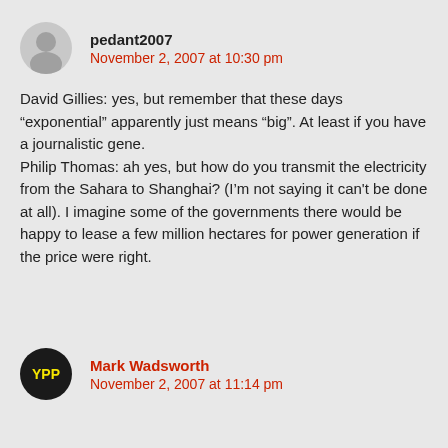pedant2007
November 2, 2007 at 10:30 pm
David Gillies: yes, but remember that these days “exponential” apparently just means “big”. At least if you have a journalistic gene.
Philip Thomas: ah yes, but how do you transmit the electricity from the Sahara to Shanghai? (I’m not saying it can't be done at all). I imagine some of the governments there would be happy to lease a few million hectares for power generation if the price were right.
Mark Wadsworth
November 2, 2007 at 11:14 pm